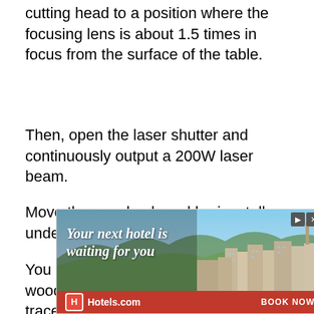cutting head to a position where the focusing lens is about 1.5 times in focus from the surface of the table.
Then, open the laser shutter and continuously output a 200W laser beam.
Move the wooden board horizontally under the focusing lens.
You can see that the surface of the wooden board will have a burning trace changing from
[Figure (other): Hotels.com advertisement banner showing a hotel/resort photo with city view, text 'Your next hotel is waiting for you', Hotels.com logo, and BOOK NOW button]